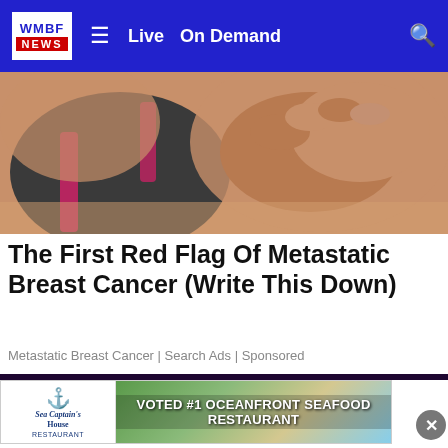[Figure (screenshot): WMBF News website navigation bar with logo, hamburger menu, Live and On Demand links, and search icon on blue background]
[Figure (photo): Woman in dark sports bra holding her chest/breast area against white background]
The First Red Flag Of Metastatic Breast Cancer (Write This Down)
Metastatic Breast Cancer | Search Ads | Sponsored
[Figure (photo): Police car with flashing blue and red lights at night, bokeh background]
[Figure (screenshot): Sea Captain's House restaurant advertisement - VOTED #1 OCEANFRONT SEAFOOD RESTAURANT]